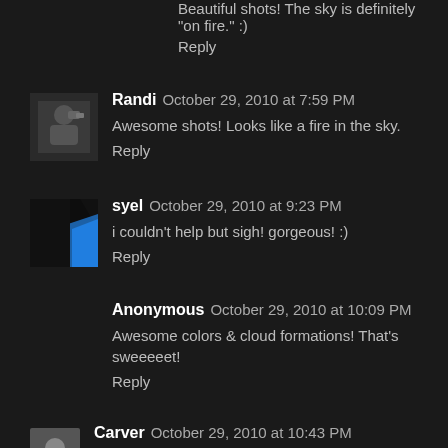Beautiful shots! The sky is definitely "on fire." :)
Reply
[Figure (photo): Avatar of user Randi - person with binoculars silhouette]
Randi  October 29, 2010 at 7:59 PM
Awesome shots! Looks like a fire in the sky.
Reply
[Figure (photo): Avatar of user syel - dark silhouette with blue shape]
syel  October 29, 2010 at 9:23 PM
i couldn't help but sigh! gorgeous! :)
Reply
Anonymous  October 29, 2010 at 10:09 PM
Awesome colors & cloud formations! That's sweeeeet!
Reply
[Figure (photo): Small partial avatar of user Carver]
Carver  October 29, 2010 at 10:43 PM